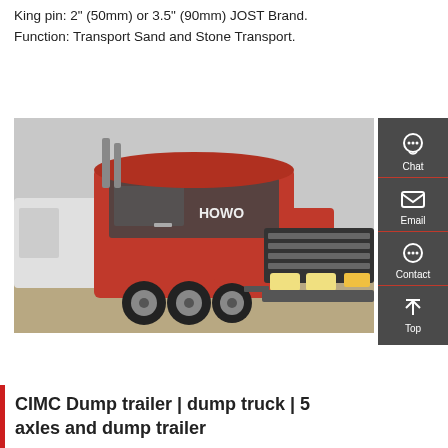King pin: 2" (50mm) or 3.5" (90mm) JOST Brand.
Function: Transport Sand and Stone Transport.
[Figure (other): Red button/link labeled 'Get a Quote']
[Figure (photo): Red HOWO tractor truck (6x4 configuration) parked in a commercial vehicle yard with other white trucks visible in the background.]
[Figure (infographic): Sidebar navigation with Chat, Email, Contact, and Top icons on a dark grey background]
CIMC Dump trailer | dump truck | 5 axles and dump trailer